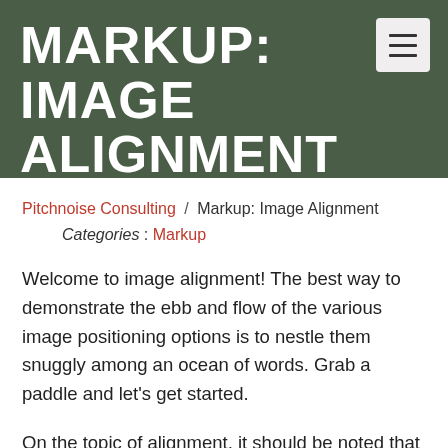MARKUP: IMAGE ALIGNMENT
Pitchnoise Consulting / Markup: Image Alignment
Categories : Markup
Welcome to image alignment! The best way to demonstrate the ebb and flow of the various image positioning options is to nestle them snuggly among an ocean of words. Grab a paddle and let's get started.
On the topic of alignment, it should be noted that users can choose from the options of None, Left, Right, and Center. In addition, they also get the